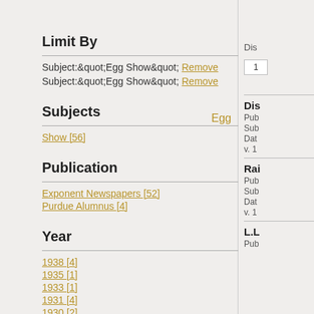Limit By
Subject:"Egg Show" Remove
Subject:"Egg Show" Remove
Egg
Subjects
Show [56]
Publication
Exponent Newspapers [52]
Purdue Alumnus [4]
Year
1938 [4]
1935 [1]
1933 [1]
1931 [4]
1930 [2]
1929 [1]
Dis
1
Dis
Pub
Sub
Dat
v. 1
Rai
Pub
Sub
Dat
v. 1
L.L
Pub